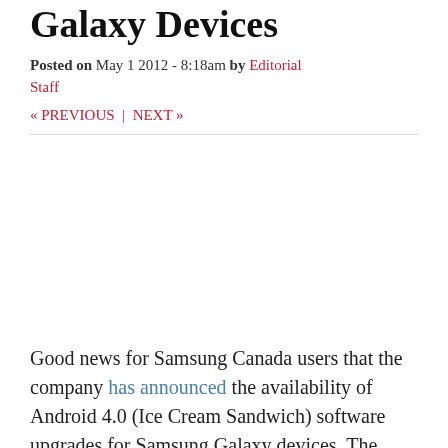Galaxy Devices
Posted on May 1 2012 - 8:18am by Editorial Staff
« PREVIOUS |  NEXT »
[Figure (other): Advertisement or blank space]
Good news for Samsung Canada users that the company has announced the availability of Android 4.0 (Ice Cream Sandwich) software upgrades for Samsung Galaxy devices. The upgrade